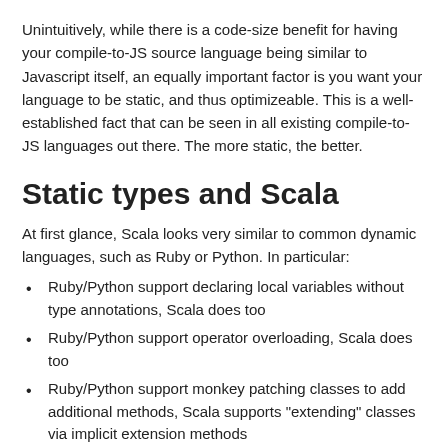Unintuitively, while there is a code-size benefit for having your compile-to-JS source language being similar to Javascript itself, an equally important factor is you want your language to be static, and thus optimizeable. This is a well-established fact that can be seen in all existing compile-to-JS languages out there. The more static, the better.
Static types and Scala
At first glance, Scala looks very similar to common dynamic languages, such as Ruby or Python. In particular:
Ruby/Python support declaring local variables without type annotations, Scala does too
Ruby/Python support operator overloading, Scala does too
Ruby/Python support monkey patching classes to add additional methods, Scala supports "extending" classes via implicit extension methods
Ruby/Python support multiple inheritance of classes with a specified method resolution order in case of diamond inheritance, Scala supports multiple inheritance of traits with a specified linearization order